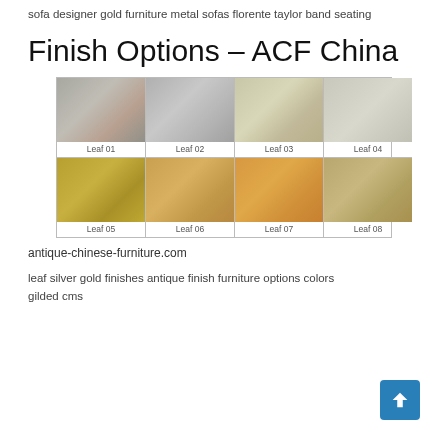sofa designer gold furniture metal sofas florente taylor band seating
Finish Options – ACF China
[Figure (photo): Grid of 8 finish swatches labeled Leaf 01 through Leaf 08. Top row: Leaf 01 (silver-grey metallic), Leaf 02 (grey metallic), Leaf 03 (warm beige-grey), Leaf 04 (light grey). Bottom row: Leaf 05 (gold/brass), Leaf 06 (warm gold), Leaf 07 (orange-gold), Leaf 08 (antique gold-brown).]
antique-chinese-furniture.com
leaf silver gold finishes antique finish furniture options colors gilded cms